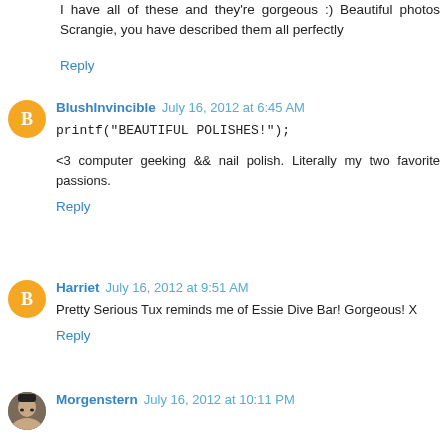I have all of these and they're gorgeous :) Beautiful photos Scrangie, you have described them all perfectly
Reply
BlushInvincible  July 16, 2012 at 6:45 AM
printf("BEAUTIFUL POLISHES!");
<3 computer geeking && nail polish. Literally my two favorite passions.
Reply
Harriet  July 16, 2012 at 9:51 AM
Pretty Serious Tux reminds me of Essie Dive Bar! Gorgeous! X
Reply
Morgenstern  July 16, 2012 at 10:11 PM